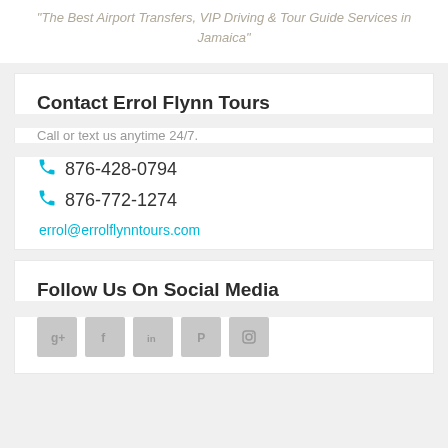"The Best Airport Transfers, VIP Driving & Tour Guide Services in Jamaica"
Contact Errol Flynn Tours
Call or text us anytime 24/7.
876-428-0794
876-772-1274
errol@errolflynntours.com
Follow Us On Social Media
[Figure (other): Row of 5 social media icon buttons: Google+, Facebook, LinkedIn, Pinterest, Instagram]